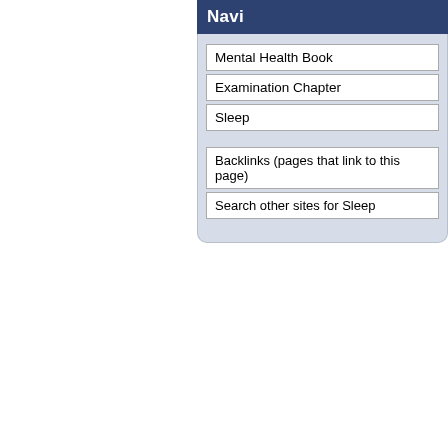[Figure (screenshot): Navigation panel with dark blue header showing 'Navi' (truncated), containing list items: Mental Health Book, Examination Chapter, Sleep, Backlinks (pages that link to this page), Search other sites for Sleep]
Mental Health Book
Examination Chapter
Sleep
Backlinks (pages that link to this page)
Search other sites for Sleep
[Figure (logo): Family Practice Notebook logo with orange/yellow globe icon]
©2022, Family Practice Notebook, LLC
Patients should address specific medical concerns with their physicians.
Although access to this page is not restricted, the information found here is intended for use by medical providers.
This page was written by Scott Moses, MD, last revised on 8/19/2013 and last published on 7/29/2022
This is one of 7117 pages in the Family Practice Notebook
- Terms, Conditions, Privacy (FPN)  - Privacy (UBM, external)  - Contact
- Site Map  - Blog